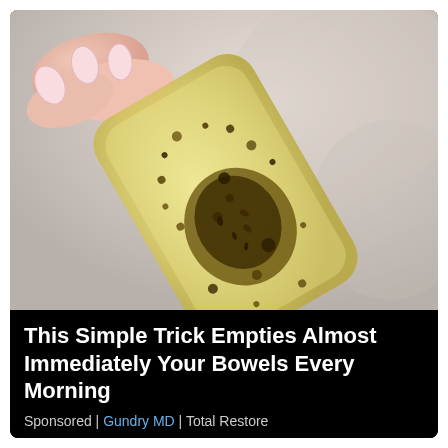[Figure (photo): Close-up photo of a hand with pale pink nails holding a translucent yellowish gel strip covered with dark brown speckles and granules, suggesting a dietary supplement or detox product, set against a light blurred background.]
This Simple Trick Empties Almost Immediately Your Bowels Every Morning
Sponsored | Gundry MD | Total Restore